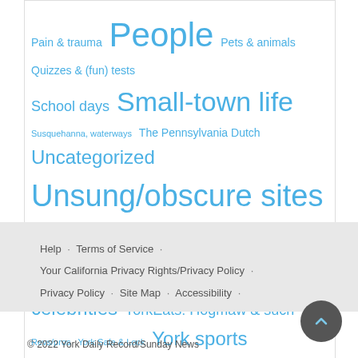Pain & trauma  People  Pets & animals  Quizzes & (fun) tests  School days  Small-town life  Susquehanna, waterways  The Pennsylvania Dutch  Uncategorized  Unsung/obscure sites  War  Wheels of York  Women's history  World War II  York celebrities  YorkEats: Hogmaw & such  York Revs/pros  York Safe & Lock  York sports
Help · Terms of Service · Your California Privacy Rights/Privacy Policy · Privacy Policy · Site Map · Accessibility ·
© 2022 York Daily Record/Sunday News